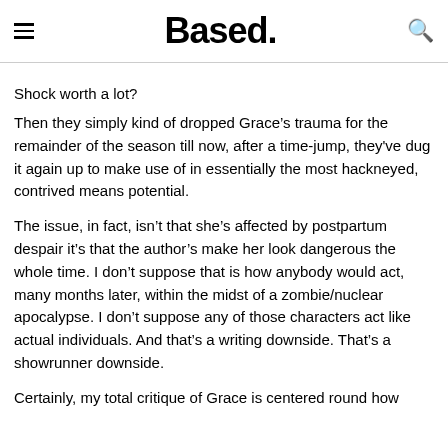Based.
Shock worth a lot?
Then they simply kind of dropped Grace’s trauma for the remainder of the season till now, after a time-jump, they've dug it again up to make use of in essentially the most hackneyed, contrived means potential.
The issue, in fact, isn’t that she’s affected by postpartum despair it’s that the author’s make her look dangerous the whole time. I don’t suppose that is how anybody would act, many months later, within the midst of a zombie/nuclear apocalypse. I don’t suppose any of those characters act like actual individuals. And that’s a writing downside. That’s a showrunner downside.
Certainly, my total critique of Grace is centered round how